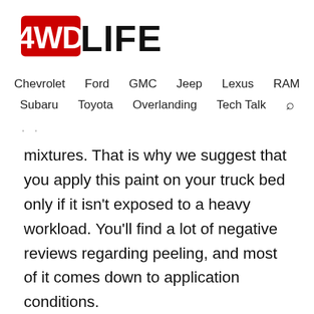[Figure (logo): 4WD LIFE logo with red '4WD' and black 'LIFE' text, bold stylized font]
Chevrolet   Ford   GMC   Jeep   Lexus   RAM
Subaru   Toyota   Overlanding   Tech Talk   🔍
mixtures. That is why we suggest that you apply this paint on your truck bed only if it isn't exposed to a heavy workload. You'll find a lot of negative reviews regarding peeling, and most of it comes down to application conditions.